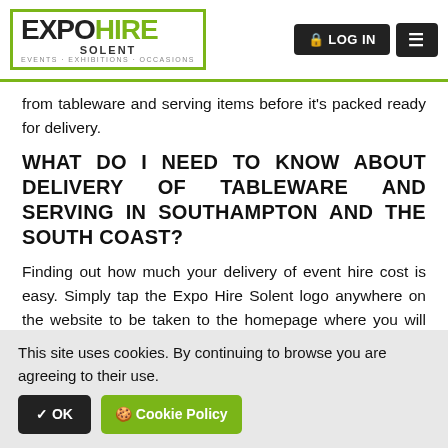EXPO HIRE SOLENT — EVENTS · EXHIBITIONS · OCCASIONS | LOG IN | Menu
from tableware and serving items before it's packed ready for delivery.
WHAT DO I NEED TO KNOW ABOUT DELIVERY OF TABLEWARE AND SERVING IN SOUTHAMPTON AND THE SOUTH COAST?
Finding out how much your delivery of event hire cost is easy. Simply tap the Expo Hire Solent logo anywhere on the website to be taken to the homepage where you will find the carriage calculator button. This clever widget will not only give you the exact costs to your venue postcode, it
This site uses cookies. By continuing to browse you are agreeing to their use.